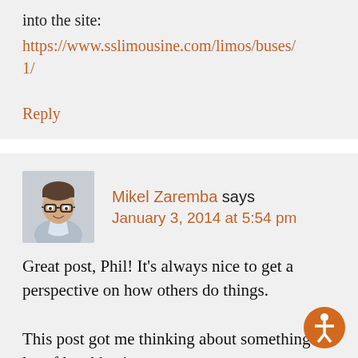into the site:
https://www.sslimousine.com/limos/buses/1/
Reply
Mikel Zaremba says
January 3, 2014 at 5:54 pm
Great post, Phil! It's always nice to get a perspective on how others do things.
This post got me thinking about something. A lot of local businesses